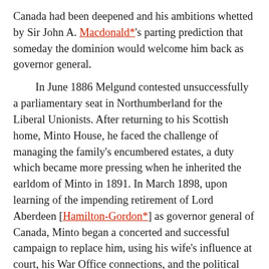Canada had been deepened and his ambitions whetted by Sir John A. Macdonald*'s parting prediction that someday the dominion would welcome him back as governor general.

In June 1886 Melgund contested unsuccessfully a parliamentary seat in Northumberland for the Liberal Unionists. After returning to his Scottish home, Minto House, he faced the challenge of managing the family's encumbered estates, a duty which became more pressing when he inherited the earldom of Minto in 1891. In March 1898, upon learning of the impending retirement of Lord Aberdeen [Hamilton-Gordon*] as governor general of Canada, Minto began a concerted and successful campaign to replace him, using his wife's influence at court, his War Office connections, and the political support of his brother Arthur Ralph Douglas. The British colonial secretary, Joseph Chamberlain, who probably wanted a malleable candidate with political experience and subtlety, consented to Minto's selection only after others had refused. Minto was appointed on 25 July and